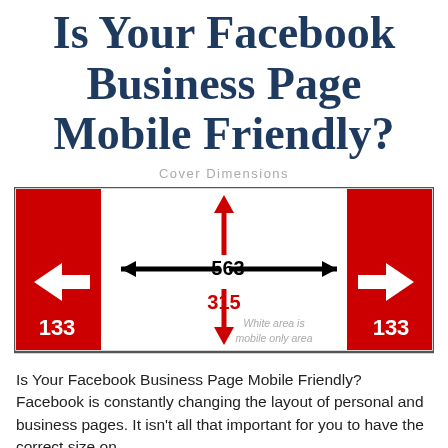Is Your Facebook Business Page Mobile Friendly?
Cover Dimensions
[Figure (infographic): Diagram showing Facebook cover photo dimensions: red panels on left and right labeled 133 (mobile only areas), center white area showing 563px wide and 315px tall with directional arrows indicating width and height measurements. Text reads 'White area is mobile only area'.]
Is Your Facebook Business Page Mobile Friendly? Facebook is constantly changing the layout of personal and business pages. It isn't all that important for you to have the correct size on